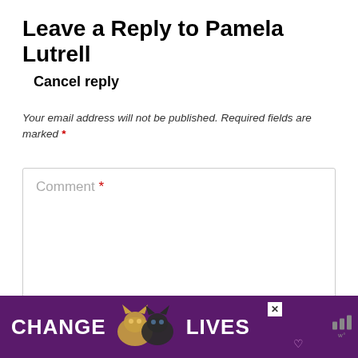Leave a Reply to Pamela Lutrell
Cancel reply
Your email address will not be published. Required fields are marked *
[Figure (screenshot): Comment text area input field with placeholder text 'Comment *']
[Figure (infographic): Advertisement banner with purple background showing cats and text 'CHANGE LIVES']